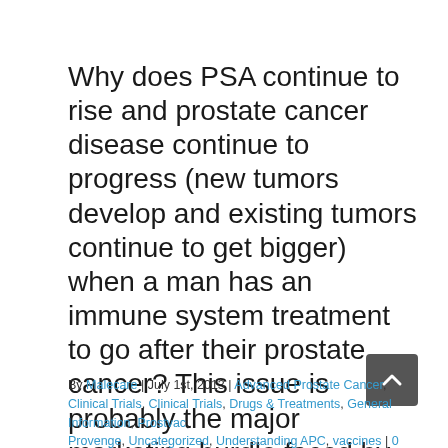Why does PSA continue to rise and prostate cancer disease continue to progress (new tumors develop and existing tumors continue to get bigger) when a man has an immune system treatment to go after their prostate cancer? This issue is probably the major marketing hurdle faced by Dendreon's Provenge and based on the current statistics [...]
By Malecare | July 1st, 2013 | Advanced Prostate Cancer, Clinical Trials, Clinical Trials, Drugs & Treatments, General Information, Prostvac, Provenge, Uncategorized, Understanding APC, vaccines | 0 Comments